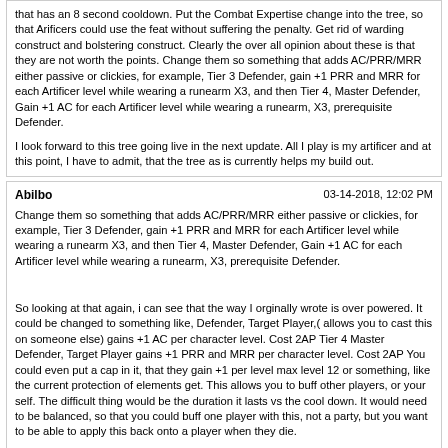that has an 8 second cooldown. Put the Combat Expertise change into the tree, so that Arificers could use the feat without suffering the penalty. Get rid of warding construct and bolstering construct. Clearly the over all opinion about these is that they are not worth the points. Change them so something that adds AC/PRR/MRR either passive or clickies, for example, Tier 3 Defender, gain +1 PRR and MRR for each Artificer level while wearing a runearm X3, and then Tier 4, Master Defender, Gain +1 AC for each Artificer level while wearing a runearm, X3, prerequisite Defender.

I look forward to this tree going live in the next update. All I play is my artificer and at this point, I have to admit, that the tree as is currently helps my build out.
Abilbo | 03-14-2018, 12:02 PM
Change them so something that adds AC/PRR/MRR either passive or clickies, for example, Tier 3 Defender, gain +1 PRR and MRR for each Artificer level while wearing a runearm X3, and then Tier 4, Master Defender, Gain +1 AC for each Artificer level while wearing a runearm, X3, prerequisite Defender.

So looking at that again, i can see that the way I orginally wrote is over powered. It could be changed to something like, Defender, Target Player,( allows you to cast this on someone else) gains +1 AC per character level. Cost 2AP Tier 4 Master Defender, Target Player gains +1 PRR and MRR per character level. Cost 2AP You could even put a cap in it, that they gain +1 per level max level 12 or something, like the current protection of elements get. This allows you to buff other players, or your self. The difficult thing would be the duration it lasts vs the cool down. It would need to be balanced, so that you could buff one player with this, not a party, but you want to be able to apply this back onto a player when they die.

If you got rid of Master Maker as it currently stands, you could put all 3 "Defender, Master Defender, Master Makerr" into the above, +1AC, then +1 PRR then +1MRr, the tier 4 & 5 requiring the Prerequisite of the one before.